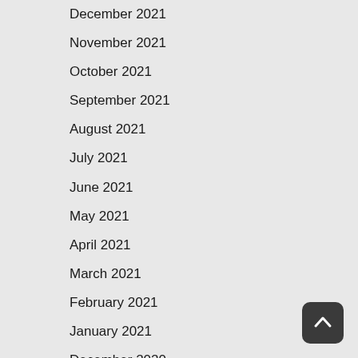December 2021
November 2021
October 2021
September 2021
August 2021
July 2021
June 2021
May 2021
April 2021
March 2021
February 2021
January 2021
December 2020
November 2020
October 2020
September 2020
August 2020